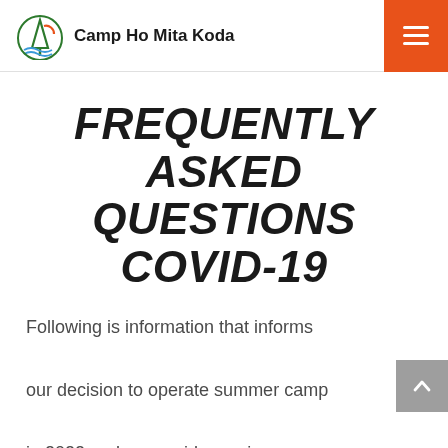Camp Ho Mita Koda
FREQUENTLY ASKED QUESTIONS COVID-19
Following is information that informs our decision to operate summer camp in 2022 and may guide you in your